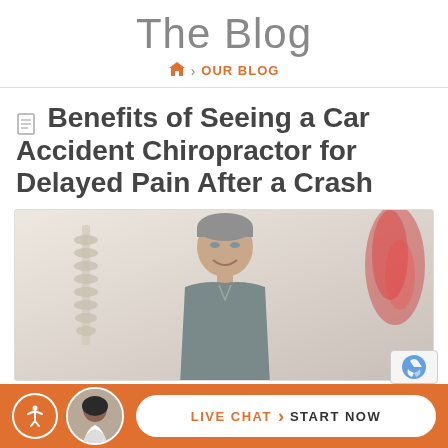The Blog
🏠 > OUR BLOG
Benefits of Seeing a Car Accident Chiropractor for Delayed Pain After a Crash
[Figure (photo): A smiling male chiropractor in a grey polo shirt, with a spine model on the left and a red anatomical illustration on the right, in a clinical white background.]
LIVE CHAT › START NOW